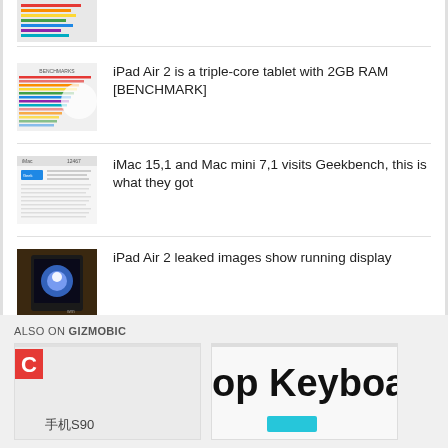[Figure (screenshot): Partial thumbnail of a benchmark chart at top, cropped]
[Figure (screenshot): Thumbnail of a horizontal bar benchmark chart with colorful bars]
iPad Air 2 is a triple-core tablet with 2GB RAM [BENCHMARK]
[Figure (screenshot): Thumbnail of a Geekbench results page for iMac 15,1 and Mac mini 7,1]
iMac 15,1 and Mac mini 7,1 visits Geekbench, this is what they got
[Figure (photo): Thumbnail photo of an iPad Air 2 showing a glowing display in a dark setting]
iPad Air 2 leaked images show running display
ALSO ON GIZMOBIC
[Figure (screenshot): Card thumbnail showing Chinese text and S90 label, partial view]
[Figure (screenshot): Card thumbnail showing 'op Keyboard' text on white background]